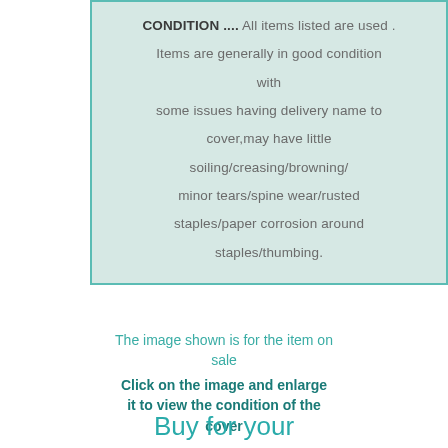CONDITION .... All items listed are used . Items are generally in good condition with some issues having delivery name to cover,may have little soiling/creasing/browning/ minor tears/spine wear/rusted staples/paper corrosion around staples/thumbing.
The image shown is for the item on sale
Click on the image and enlarge it to view the condition of the cover
Buy for your collection or treat